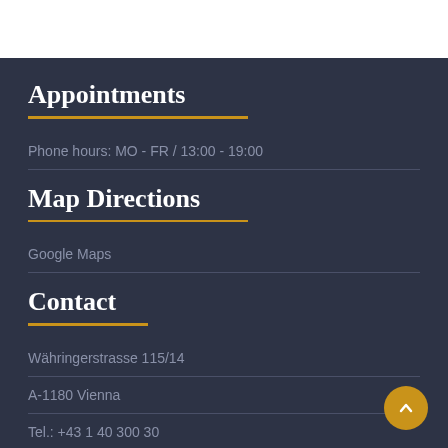Appointments
Phone hours: MO - FR / 13:00 - 19:00
Map Directions
Google Maps
Contact
Währingerstrasse 115/14
A-1180 Vienna
Tel.: +43 1 40 300 30
E-Mail: rainer@kunstfeld.at